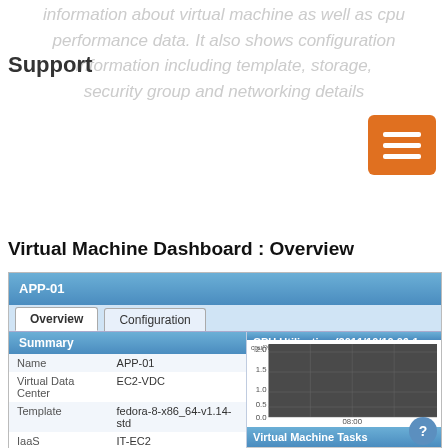information about virtual machine as well as cpu performance data. It also shows configuration information including template, storage, security group and networking details
Support
[Figure (screenshot): Orange hamburger/menu button icon]
Virtual Machine Dashboard : Overview
[Figure (screenshot): Screenshot of Virtual Machine Dashboard showing APP-01 with Overview and Configuration tabs. Summary table shows Name: APP-01, Virtual Data Center: EC2-VDC, Template: fedora-8-x86_64-v1.14-std, IaaS: IT-EC2, Status: Up (green checkbox), Memory (MB): 613, Storage (GB): 15, Virtualization, Instance Id: i-aaac81ca, Public DNS: ec2-174-129-86-243.compute-1.amazonaws.com, Account: IT-EC2, Region: us-east-1. Right panel shows CPU Utilization (2011/10/10 06:1...) chart with cpu(%) axis 0.0 to 2.0 and time axis at 08:00. Bottom right shows Virtual Machine Tasks panel with Name and Use columns. A blue circle info icon appears at bottom right.]